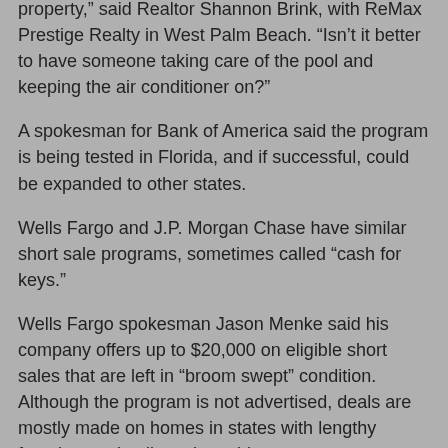property,” said Realtor Shannon Brink, with ReMax Prestige Realty in West Palm Beach. “Isn’t it better to have someone taking care of the pool and keeping the air conditioner on?”
A spokesman for Bank of America said the program is being tested in Florida, and if successful, could be expanded to other states.
Wells Fargo and J.P. Morgan Chase have similar short sale programs, sometimes called “cash for keys.”
Wells Fargo spokesman Jason Menke said his company offers up to $20,000 on eligible short sales that are left in “broom swept” condition. Although the program is not advertised, deals are mostly made on homes in states with lengthy foreclosure timelines, he said.
And caveats exist. The Wells Fargo short sale incentive is only good on first lien loans that it owns, which is about 20 percent of its total portfolio.
Bank of America’s plan excludes Ginnie Mae, Federal Housing Administration and VA loans.